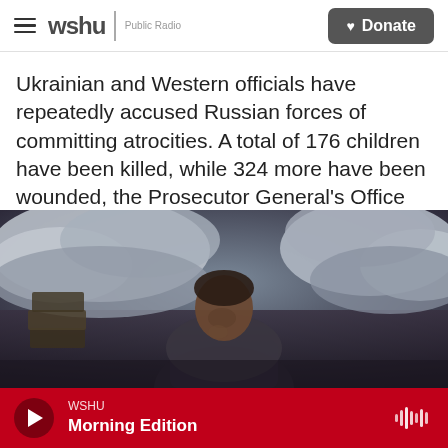wshu Public Radio | Donate
Ukrainian and Western officials have repeatedly accused Russian forces of committing atrocities. A total of 176 children have been killed, while 324 more have been wounded, the Prosecutor General's Office said Saturday.
[Figure (photo): A man sits with his hand near his face, surrounded by sandbags and crates in a dimly lit room.]
WSHU — Morning Edition (audio player bar)